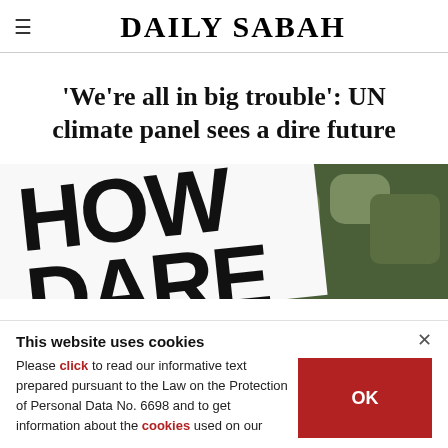DAILY SABAH
'We're all in big trouble': UN climate panel sees a dire future
[Figure (photo): Close-up photograph of a protest sign reading 'HOW DARE' in large bold black letters on white background, with green foliage in the background]
This website uses cookies
Please click to read our informative text prepared pursuant to the Law on the Protection of Personal Data No. 6698 and to get information about the cookies used on our